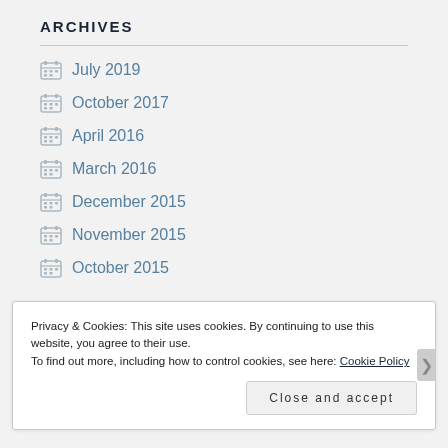ARCHIVES
July 2019
October 2017
April 2016
March 2016
December 2015
November 2015
October 2015
Privacy & Cookies: This site uses cookies. By continuing to use this website, you agree to their use.
To find out more, including how to control cookies, see here: Cookie Policy
Close and accept